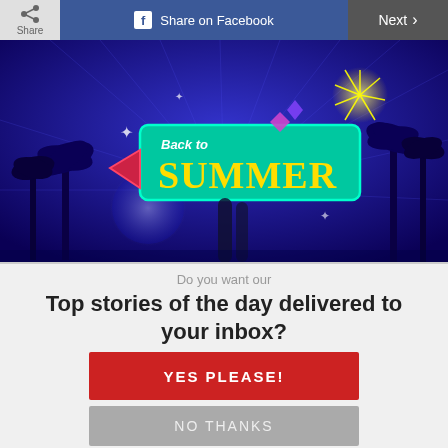[Figure (screenshot): Navigation bar with Share button, Share on Facebook button (blue), and Next button (dark gray) with chevron]
[Figure (illustration): Colorful summer-themed promotional game image with text 'Back to SUMMER' on a teal sign, palm trees, fireworks, and beach elements on a dark blue background]
Do you want our
Top stories of the day delivered to your inbox?
YES PLEASE!
NO THANKS